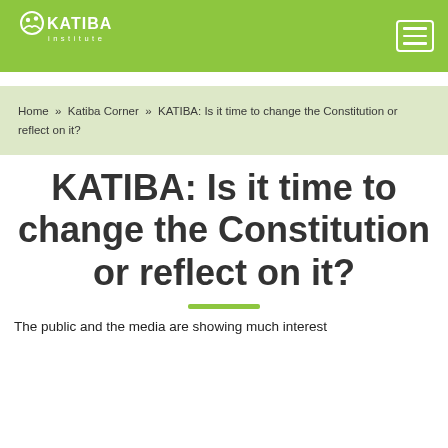KATIBA Institute
Home » Katiba Corner » KATIBA: Is it time to change the Constitution or reflect on it?
KATIBA: Is it time to change the Constitution or reflect on it?
The public and the media are showing much interest